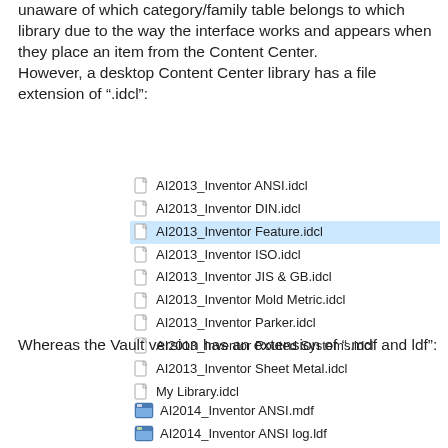unaware of which category/family table belongs to which library due to the way the interface works and appears when they place an item from the Content Center.
However, a desktop Content Center library has a file extension of ".idcl":
[Figure (screenshot): File explorer list showing .idcl files: AI2013_Inventor ANSI.idcl, AI2013_Inventor DIN.idcl, AI2013_Inventor Feature.idcl (selected/highlighted), AI2013_Inventor ISO.idcl, AI2013_Inventor JIS & GB.idcl, AI2013_Inventor Mold Metric.idcl, AI2013_Inventor Parker.idcl, AI2013_Inventor Routed Systems.idcl, AI2013_Inventor Sheet Metal.idcl, My Library.idcl]
Whereas the Vault version has an extension of ".mdf and ldf":
[Figure (screenshot): File explorer showing .mdf and .ldf files: AI2014_Inventor ANSI.mdf, AI2014_Inventor ANSI log.ldf (partially visible)]